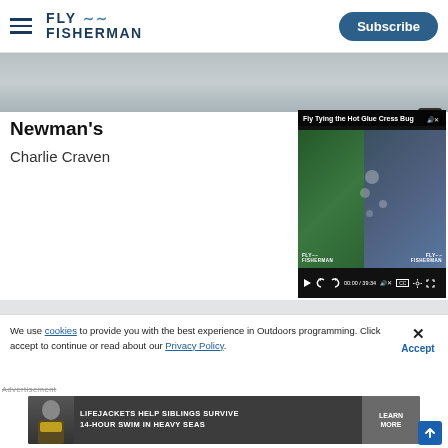FLY FISHERMAN — Subscribe
[Figure (screenshot): Top banner wood/water background image with close X button]
Newman's
Charlie Craven
[Figure (screenshot): Embedded video player: Fly Tying the Hot Glue Cress Bug, time 00:00 / 39:34, showing a fly tier with Fly Fisherman branding on each half of split screen]
[Figure (screenshot): Gray content strip below main content]
We use cookies to provide you with the best experience in Outdoors programming. Click accept to continue or read about our Privacy Policy.
Advertisement
[Figure (photo): Advertisement banner: LIFEJACKETS HELP SIBLINGS SURVIVE 14-HOUR SWIM IN HEAVY SEAS with LEARN MORE button, showing person in life jacket]